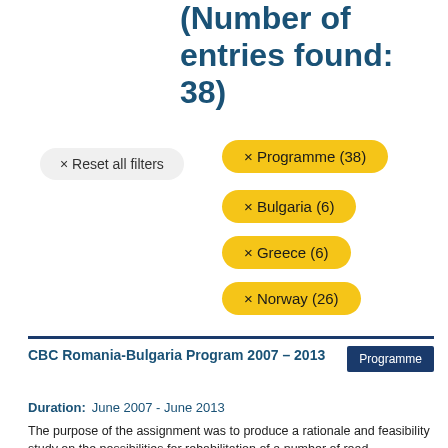(Number of entries found: 38)
× Reset all filters
× Programme (38)
× Bulgaria (6)
× Greece (6)
× Norway (26)
CBC Romania-Bulgaria Program 2007 – 2013
Programme
Duration:   June 2007 - June 2013
The purpose of the assignment was to produce a rationale and feasibility study on the possibilities for rehabilitation of a number of road infrastructure